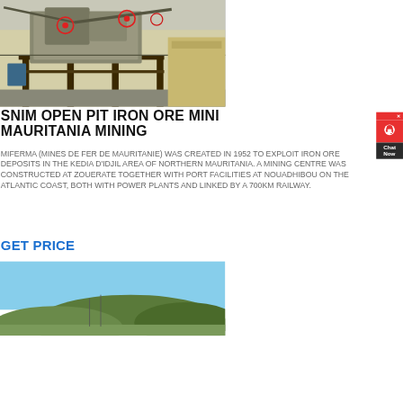[Figure (photo): Industrial mining equipment / crusher machinery at an open pit mine site, with red circular markers highlighting components]
SNIM OPEN PIT IRON ORE MINING MAURITANIA MINING
MIFERMA (MINES DE FER DE MAURITANIE) WAS CREATED IN 1952 TO EXPLOIT IRON ORE DEPOSITS IN THE KEDIA D'IDJIL AREA OF NORTHERN MAURITANIA. A MINING CENTRE WAS CONSTRUCTED AT ZOUERATE TOGETHER WITH PORT FACILITIES AT NOUADHIBOU ON THE ATLANTIC COAST, BOTH WITH POWER PLANTS AND LINKED BY A 700KM RAILWAY.
GET PRICE
[Figure (photo): Landscape photo of a mining area with hills and a clear blue sky]